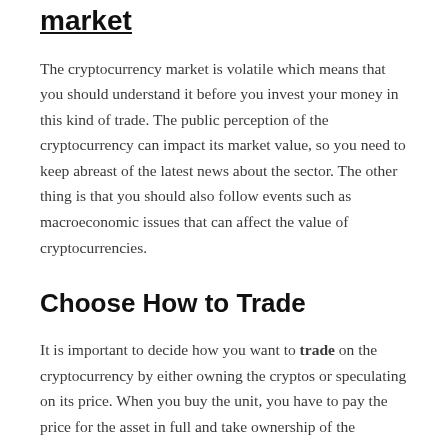market
The cryptocurrency market is volatile which means that you should understand it before you invest your money in this kind of trade. The public perception of the cryptocurrency can impact its market value, so you need to keep abreast of the latest news about the sector. The other thing is that you should also follow events such as macroeconomic issues that can affect the value of cryptocurrencies.
Choose How to Trade
It is important to decide how you want to trade on the cryptocurrency by either owning the cryptos or speculating on its price. When you buy the unit, you have to pay the price for the asset in full and take ownership of the currency and keep the units in your digital wallet. On the other hand, with trading, you need to pay a portion of your total unit and this allows you to leverage on the price. You gain an